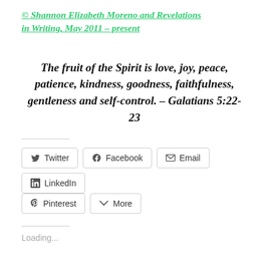© Shannon Elizabeth Moreno and Revelations in Writing, May 2011 – present
The fruit of the Spirit is love, joy, peace, patience, kindness, goodness, faithfulness, gentleness and self-control. – Galatians 5:22-23
Twitter  Facebook  Email  LinkedIn  Pinterest  More
Loading...